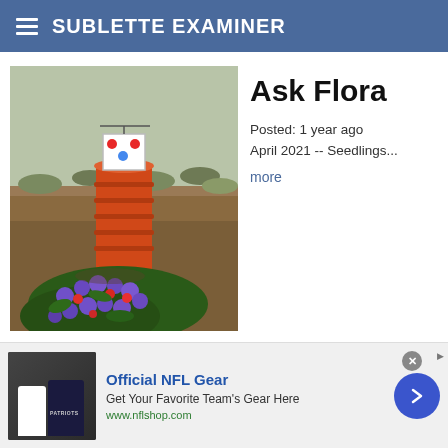SUBLETTE EXAMINER
[Figure (photo): Outdoor photo showing a stacked orange barrel/bucket planter with a target on top, surrounded by purple and red flowers on dry ground with sagebrush in the background]
Ask Flora
Posted: 1 year ago
April 2021 -- Seedlings...
more
[Figure (photo): Advertisement banner: Official NFL Gear - showing NFL jerseys, text 'Get Your Favorite Team's Gear Here', url www.nflshop.com]